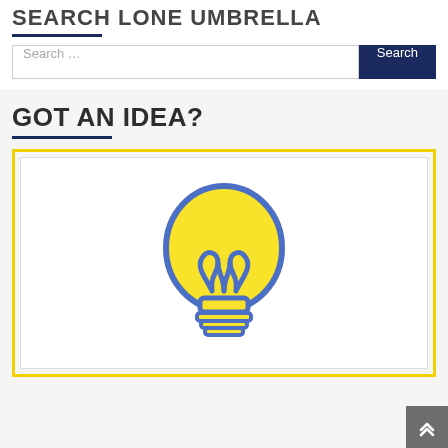SEARCH LONE UMBRELLA
Search ...
GOT AN IDEA?
[Figure (illustration): Flat icon illustration of a yellow light bulb with blue outline, shown inside a double-bordered frame (yellow outer border, grey inner border). The bulb has a stylized filament design inside.]